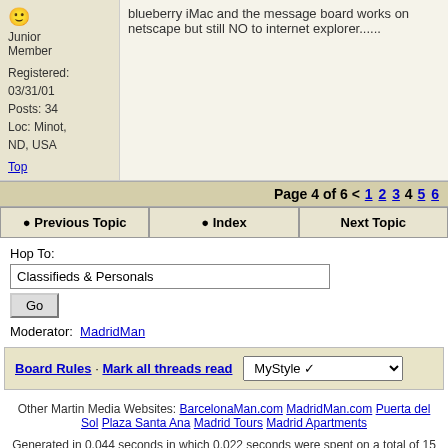blueberry iMac and the message board works on netscape but still NO to internet explorer......
Junior Member
Registered: 03/31/01
Posts: 34
Loc: Minot, ND, USA
Top
Page 4 of 6 < 1 2 3 4 5 6
Previous Topic   Index   Next Topic
Hop To:
Classifieds & Personals
Go
Moderator: MadridMan
Board Rules · Mark all threads read   MyStyle
Other Martin Media Websites: BarcelonaMan.com MadridMan.com Puerta del Sol Plaza Santa Ana Madrid Tours Madrid Apartments
Generated in 0.044 seconds in which 0.022 seconds were spent on a total of 15 queries. Zlib compression disabled.
Powered by UBB.threads™ PHP Forum Software 7.5.9